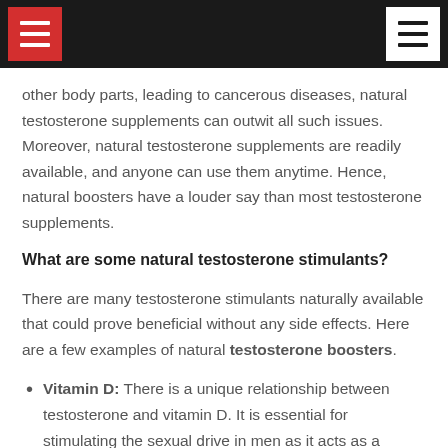[Navigation bar with menu icons]
other body parts, leading to cancerous diseases, natural testosterone supplements can outwit all such issues. Moreover, natural testosterone supplements are readily available, and anyone can use them anytime. Hence, natural boosters have a louder say than most testosterone supplements.
What are some natural testosterone stimulants?
There are many testosterone stimulants naturally available that could prove beneficial without any side effects. Here are a few examples of natural testosterone boosters.
Vitamin D: There is a unique relationship between testosterone and vitamin D. It is essential for stimulating the sexual drive in men as it acts as a